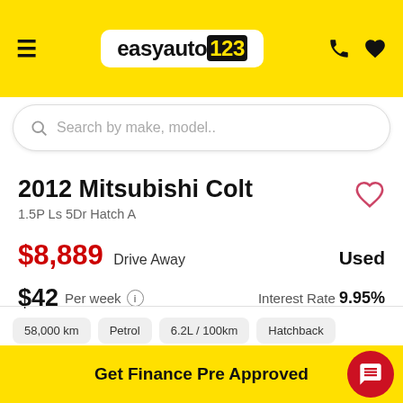easyauto123
Search by make, model..
2012 Mitsubishi Colt
1.5P Ls 5Dr Hatch A
$8,889 Drive Away   Used
$42 Per week  Interest Rate 9.95%
58,000 km
Petrol
6.2L / 100km
Hatchback
Get Finance Pre Approved